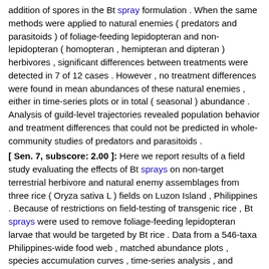addition of spores in the Bt spray formulation . When the same methods were applied to natural enemies ( predators and parasitoids ) of foliage-feeding lepidopteran and non-lepidopteran ( homopteran , hemipteran and dipteran ) herbivores , significant differences between treatments were detected in 7 of 12 cases . However , no treatment differences were found in mean abundances of these natural enemies , either in time-series plots or in total ( seasonal ) abundance . Analysis of guild-level trajectories revealed population behavior and treatment differences that could not be predicted in whole-community studies of predators and parasitoids .
[ Sen. 7, subscore: 2.00 ]: Here we report results of a field study evaluating the effects of Bt sprays on non-target terrestrial herbivore and natural enemy assemblages from three rice ( Oryza sativa L ) fields on Luzon Island , Philippines . Because of restrictions on field-testing of transgenic rice , Bt sprays were used to remove foliage-feeding lepidopteran larvae that would be targeted by Bt rice . Data from a 546-taxa Philippines-wide food web , matched abundance plots , species accumulation curves , time-series analysis , and ecostatistical tests for species richness and ranked abundance were used to compare different subsets of non-target herbivores , predators , and parasitoids in Bt sprayed and water-sprayed ( control ) plots . For whole communities of terrestrial predators and parasitoids , Bt sprays altered parasitoid richness in 3 of 3 sites and predator richness in 1 of 3 sites , as measured by rarefaction ( in half of these cases , richness was greater in Bt plots ) , while Spearman tests on ranked abundances showed that correlations , although significantly positive between all treatment pairs , were stronger for predators than for parasitoids , suggesting that parasitoid complexes may have been more sensitive than predators to the effects of Bt sprays . Species accumulation curves and time-series analyses of population trends revealed no evidence that Bt